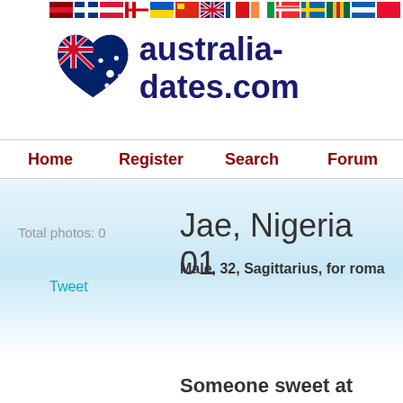[Figure (other): Row of country flag icons across the top of the page]
[Figure (logo): Australia-dates.com logo: heart shape with Australian flag inside, next to site name text 'australia-dates.com' in dark navy bold font]
Home   Register   Search   Forum
Total photos: 0
Tweet
Jae, Nigeria 01
Male, 32, Sagittarius, for roma
Someone sweet at